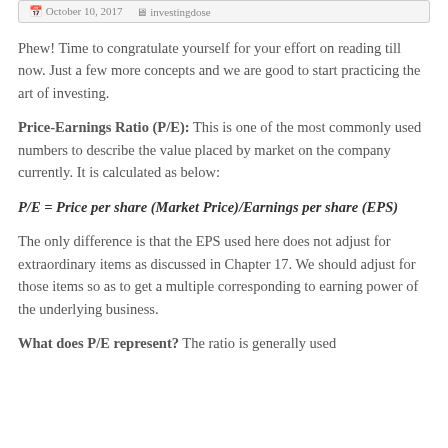October 10, 2017  investingdose
Phew! Time to congratulate yourself for your effort on reading till now. Just a few more concepts and we are good to start practicing the art of investing.
Price-Earnings Ratio (P/E): This is one of the most commonly used numbers to describe the value placed by market on the company currently. It is calculated as below:
The only difference is that the EPS used here does not adjust for extraordinary items as discussed in Chapter 17. We should adjust for those items so as to get a multiple corresponding to earning power of the underlying business.
What does P/E represent? The ratio is generally used